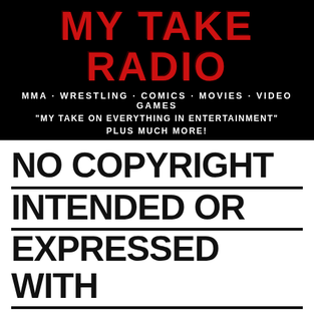[Figure (logo): My Take Radio logo banner on black background. Large red bold text reading 'MY TAKE RADIO' with text below: 'MMA · WRESTLING · COMICS · MOVIES · VIDEO GAMES', '"MY TAKE ON EVERYTHING IN ENTERTAINMENT"', 'PLUS MUCH MORE!']
NO COPYRIGHT INTENDED OR EXPRESSED WITH ANY IMAGES OR MUSIC